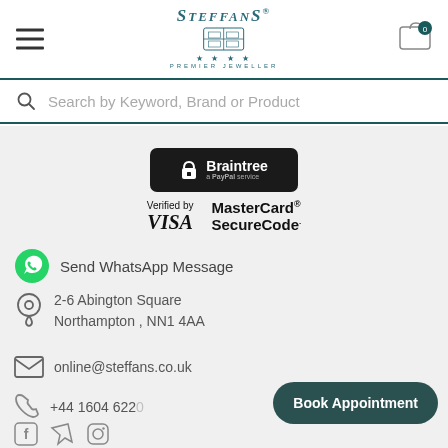[Figure (logo): Steffans Premier Jeweller logo with crest and stars]
Search by Keyword, Brand or Product
[Figure (logo): Braintree a PayPal service badge (dark background)]
[Figure (logo): Verified by VISA and MasterCard SecureCode badges]
Send WhatsApp Message
2-6 Abington Square
Northampton , NN1 4AA
online@steffans.co.uk
+44 1604 622
Book Appointment